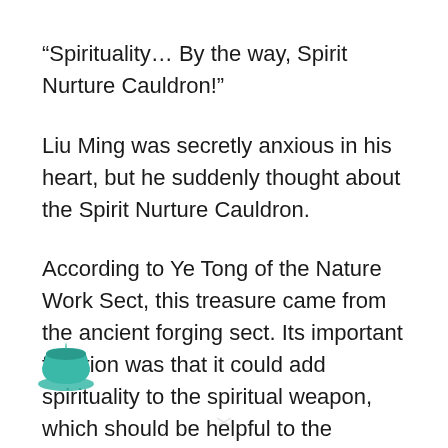“Spirituality… By the way, Spirit Nurture Cauldron!”
Liu Ming was secretly anxious in his heart, but he suddenly thought about the Spirit Nurture Cauldron.
According to Ye Tong of the Nature Work Sect, this treasure came from the ancient forging sect. Its important function was that it could add spirituality to the spiritual weapon, which should be helpful to the